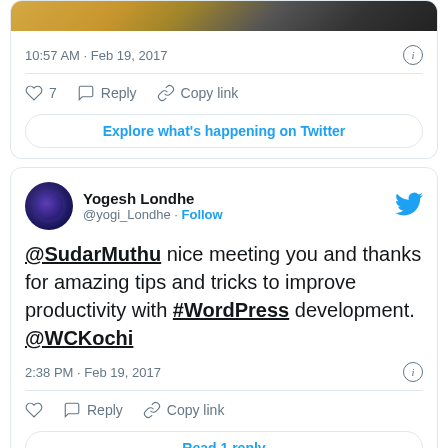[Figure (screenshot): Top portion of a tweet showing a cropped photo of people]
10:57 AM · Feb 19, 2017
♡ 7   Reply   Copy link
Explore what's happening on Twitter
[Figure (screenshot): Twitter profile avatar for Yogesh Londhe (@yogi_Londhe) with Follow button]
Yogesh Londhe @yogi_Londhe · Follow
@SudarMuthu nice meeting you and thanks for amazing tips and tricks to improve productivity with #WordPress development. @WCKochi
2:38 PM · Feb 19, 2017
Reply   Copy link
Read 1 reply